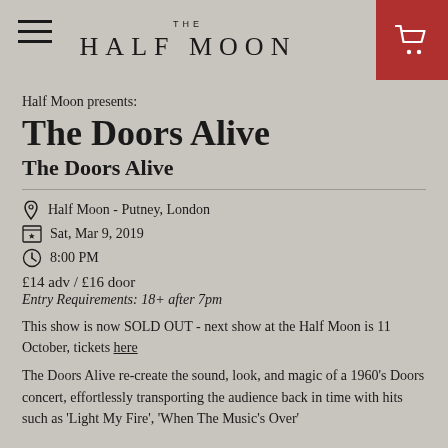THE HALF MOON
Half Moon presents:
The Doors Alive
The Doors Alive
Half Moon - Putney, London
Sat, Mar 9, 2019
8:00 PM
£14 adv / £16 door
Entry Requirements: 18+ after 7pm
This show is now SOLD OUT - next show at the Half Moon is 11 October, tickets here
The Doors Alive re-create the sound, look, and magic of a 1960's Doors concert, effortlessly transporting the audience back in time with hits such as 'Light My Fire', 'When The Music's Over'